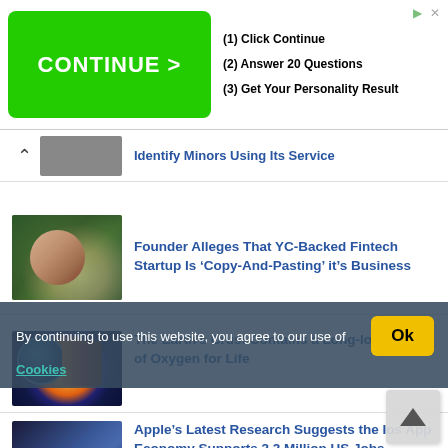[Figure (screenshot): Advertisement banner with green CONTINUE > button and steps: (1) Click Continue, (2) Answer 20 Questions, (3) Get Your Personality Result]
Identify Minors Using Its Service
Founder Alleges That YC-Backed Fintech Startup Is ‘Copy-And-Pasting’ it’s Business
The Earth’s Crust Contains a Long-lost Source of Oxygen for Life
By continuing to use this website, you agree to our use of Cookies
Apple’s Latest Research Suggests the Ios App Economy Supports 2.2 Million US Jobs